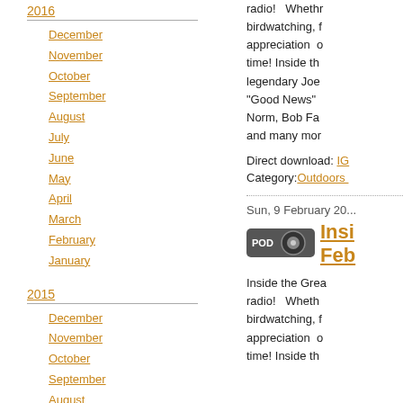2016
December
November
October
September
August
July
June
May
April
March
February
January
2015
December
November
October
September
August
radio!  Whether birdwatching, f appreciation o time! Inside th legendary Joe "Good News" Norm, Bob Fa and many mor
Direct download: IG
Category:Outdoors
Sun, 9 February 20...
Insi Febr
Inside the Grea radio!  Wheth birdwatching, f appreciation o time! Inside th